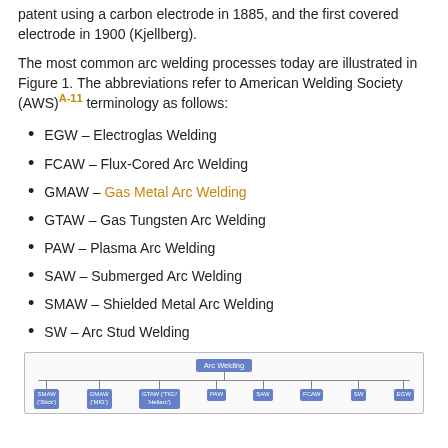patent using a carbon electrode in 1885, and the first covered electrode in 1900 (Kjellberg).
The most common arc welding processes today are illustrated in Figure 1. The abbreviations refer to American Welding Society (AWS) A-11 terminology as follows:
EGW – Electroglas Welding
FCAW – Flux-Cored Arc Welding
GMAW – Gas Metal Arc Welding
GTAW – Gas Tungsten Arc Welding
PAW – Plasma Arc Welding
SAW – Submerged Arc Welding
SMAW – Shielded Metal Arc Welding
SW – Arc Stud Welding
[Figure (flowchart): Organizational flowchart showing Arc Welding at the top, with branches to: SMAW ('Stick'), GMAW ('MIG'), GTAW ('TIG'/'Heliarc'), PAW, SAW, FCAW, SW, EGW]